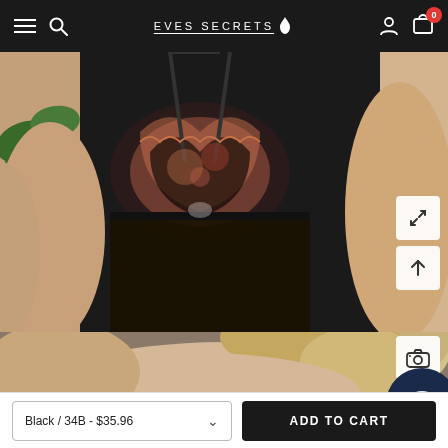EVES SECRETS
[Figure (photo): Close-up product photo of a black lace lingerie bodysuit with rose-colored floral print, worn by a model holding a green rose.]
[Figure (photo): Second product photo showing a blonde model wearing a light-colored lingerie piece, upper body visible from the neck down.]
Black / 34B - $35.96
ADD TO CART